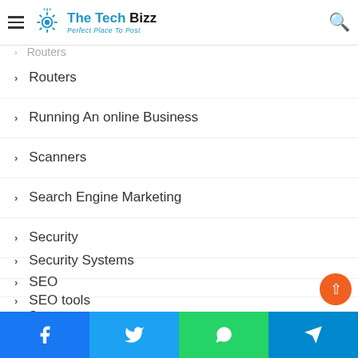The Tech Bizz - Perfect Place To Post
Routers
Running An online Business
Scanners
Search Engine Marketing
Security
Security Systems
SEO
SEO tools
Servers
Service
Smart Home Automation
Facebook | Twitter | WhatsApp | Telegram